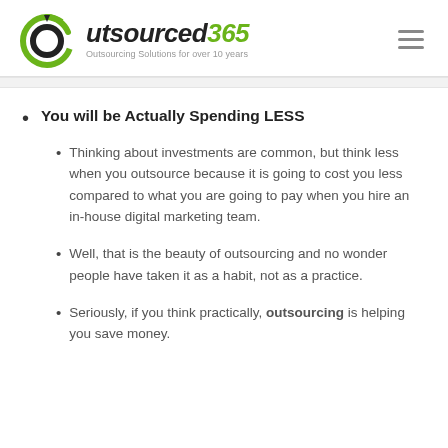outsourced365 — Outsourcing Solutions for over 10 years
You will be Actually Spending LESS
Thinking about investments are common, but think less when you outsource because it is going to cost you less compared to what you are going to pay when you hire an in-house digital marketing team.
Well, that is the beauty of outsourcing and no wonder people have taken it as a habit, not as a practice.
Seriously, if you think practically, outsourcing is helping you save money.